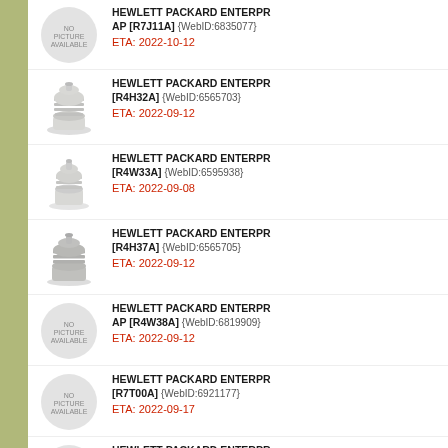HEWLETT PACKARD ENTERPRISE AP [R7J11A] {WebID:6835077} ETA: 2022-10-12
HEWLETT PACKARD ENTERPRISE [R4H32A] {WebID:6565703} ETA: 2022-09-12
HEWLETT PACKARD ENTERPRISE [R4W33A] {WebID:6595938} ETA: 2022-09-08
HEWLETT PACKARD ENTERPRISE [R4H37A] {WebID:6565705} ETA: 2022-09-12
HEWLETT PACKARD ENTERPRISE AP [R4W38A] {WebID:6819909} ETA: 2022-09-12
HEWLETT PACKARD ENTERPRISE [R7T00A] {WebID:6921177} ETA: 2022-09-17
HEWLETT PACKARD ENTERPRISE [R7T05A] {WebID:6921178} ETA: 2022-09-17
HEWLETT PACKARD ENTERPRISE [R7T10A] {WebID:6921179}